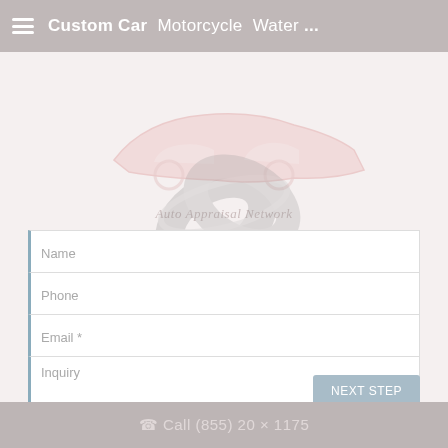Custom Car  Motorcycle  Water ...
[Figure (logo): Auto Appraisal Network logo with stylized car silhouette and orbiting rings graphic, displayed faded as watermark behind form]
Name
Phone
Email *
Inquiry
loading...
NEXT STEP
Call (855) 20 × 1175